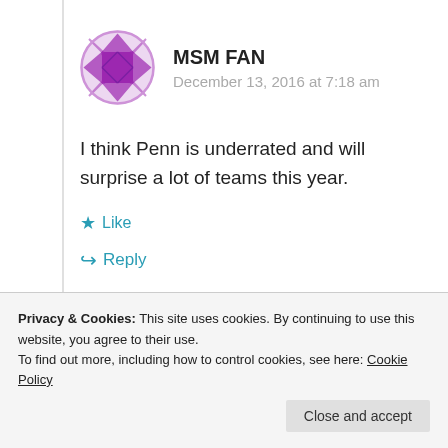[Figure (illustration): Purple quilt-pattern avatar icon for user MSM FAN]
MSM FAN
December 13, 2016 at 7:18 am
I think Penn is underrated and will surprise a lot of teams this year.
Like
Reply
Easy to say that now 🙂
Privacy & Cookies: This site uses cookies. By continuing to use this website, you agree to their use. To find out more, including how to control cookies, see here: Cookie Policy
Close and accept